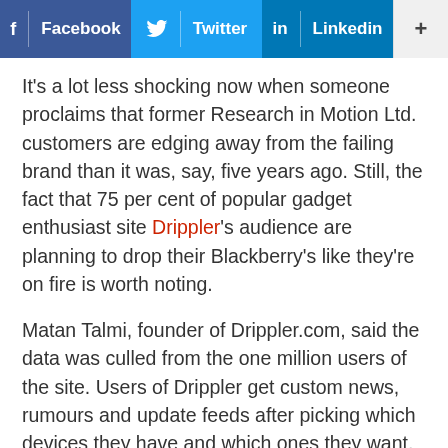[Figure (infographic): Social sharing bar with Facebook, Twitter, LinkedIn buttons and a plus/more button]
It's a lot less shocking now when someone proclaims that former Research in Motion Ltd. customers are edging away from the failing brand than it was, say, five years ago. Still, the fact that 75 per cent of popular gadget enthusiast site Drippler's audience are planning to drop their Blackberry's like they're on fire is worth noting.
Matan Talmi, founder of Drippler.com, said the data was culled from the one million users of the site. Users of Drippler get custom news, rumours and update feeds after picking which devices they have and which ones they want. Based on that data, Talmi concluded that 75 per cent of the Blackberry-owning enthusiasts who visit his site plan to pick up a Windows Phone, Android, or iPhone, based on the...